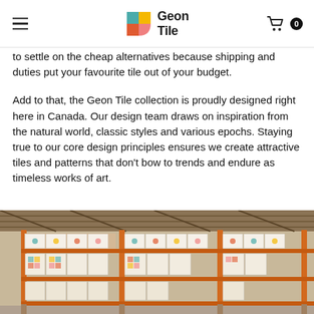Geon Tile — navigation header with logo and cart
to settle on the cheap alternatives because shipping and duties put your favourite tile out of your budget.
Add to that, the Geon Tile collection is proudly designed right here in Canada. Our design team draws on inspiration from the natural world, classic styles and various epochs. Staying true to our core design principles ensures we create attractive tiles and patterns that don't bow to trends and endure as timeless works of art.
[Figure (photo): Warehouse shelving with stacked boxes of Geon Tile products on orange metal pallet racks, boxes decorated with colorful geometric tile patterns]